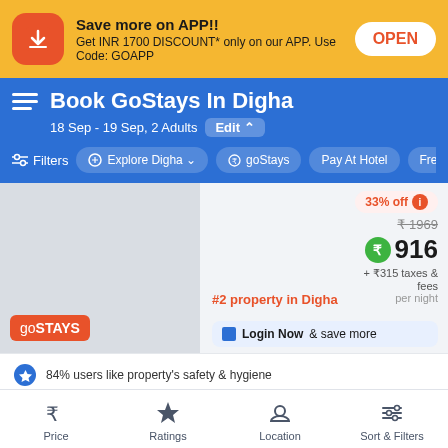Save more on APP!! Get INR 1700 DISCOUNT* only on our APP. Use Code: GOAPP
OPEN
Book GoStays In Digha
18 Sep - 19 Sep, 2 Adults Edit
Filters | Explore Digha | goStays | Pay At Hotel | Free Can
33% off
₹ 1969
₹916
+ ₹315 taxes & fees
per night
#2 property in Digha
goSTAYS
Login Now & save more
84% users like property's safety & hygiene
Price
Ratings
Location
Sort & Filters